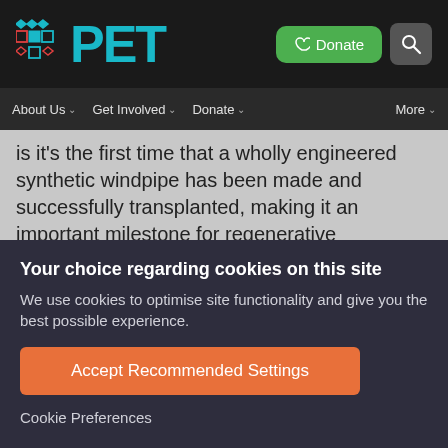[Figure (logo): PET website header with teal PET logo and grid icon on black background, with green Donate button and grey search button]
About Us  Get Involved  Donate  More
is it's the first time that a wholly engineered synthetic windpipe has been made and successfully transplanted, making it an important milestone for regenerative
Your choice regarding cookies on this site
We use cookies to optimise site functionality and give you the best possible experience.
Accept Recommended Settings
Cookie Preferences